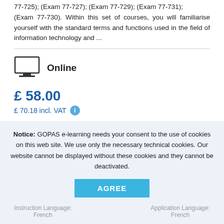77-725); (Exam 77-727); (Exam 77-729); (Exam 77-731); (Exam 77-730). Within this set of courses, you will familiarise yourself with the standard terms and functions used in the field of information technology and ...
[Figure (illustration): Monitor/computer screen icon representing online delivery]
Online
£ 58.00
£ 70.18 incl. VAT
Detail
Notice: GOPAS e-learning needs your consent to the use of cookies on this web site. We use only the necessary technical cookies. Our website cannot be displayed without these cookies and they cannot be deactivated.
AGREE
Instruction Language: French
Application Language: French